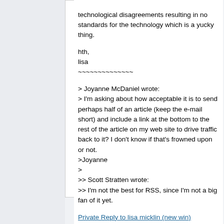technological disagreements resulting in no standards for the technology which is a yucky thing.

hth,
lisa
~~~~~~~~~~~~~~
> Joyanne McDaniel wrote:
> I'm asking about how acceptable it is to send perhaps half of an article (keep the e-mail short) and include a link at the bottom to the rest of the article on my web site to drive traffic back to it? I don't know if that's frowned upon or not.
>Joyanne
>
>> Scott Stratten wrote:
>> I'm not the best for RSS, since I'm not a big fan of it yet.

Private Reply to lisa micklin (new win)